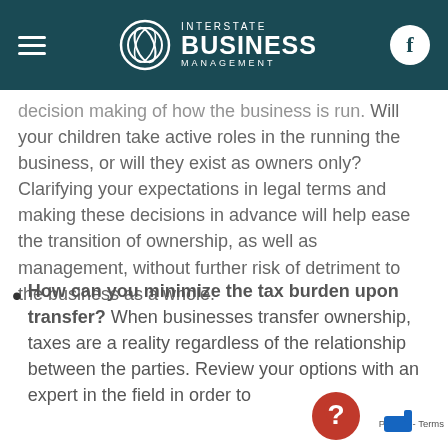Interstate Business Management
decision making of how the business is run. Will your children take active roles in the running the business, or will they exist as owners only? Clarifying your expectations in legal terms and making these decisions in advance will help ease the transition of ownership, as well as management, without further risk of detriment to the business as a whole.
How can you minimize the tax burden upon transfer? When businesses transfer ownership, taxes are a reality regardless of the relationship between the parties. Review your options with an expert in the field in order to